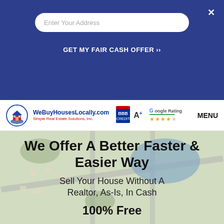×
Enter Your Address
GET MY FAIR CASH OFFER ››
[Figure (logo): WeBuyHousesLocally.com logo with house icon, Simple Real Estate Solutions, Inc., BBB A+ rating badge, and Google Rating 4.5 stars]
MENU
We Offer A Better Faster & Easier Way
Sell Your House Without A Realtor, As-Is, In Cash
100% Free